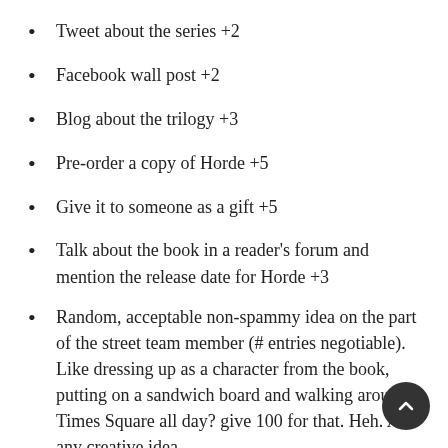Tweet about the series +2
Facebook wall post +2
Blog about the trilogy +3
Pre-order a copy of Horde +5
Give it to someone as a gift +5
Talk about the book in a reader's forum and mention the release date for Horde +3
Random, acceptable non-spammy idea on the part of the street team member (# entries negotiable). Like dressing up as a character from the book, putting on a sandwich board and walking around Times Square all day? give 100 for that. Heh. And any creative idea